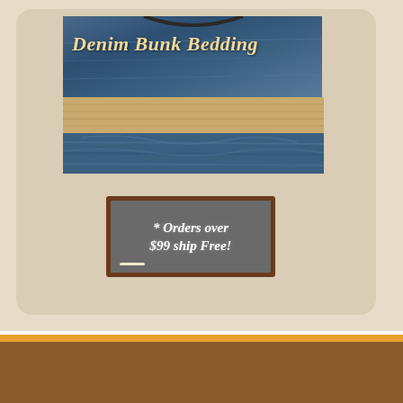[Figure (photo): Photo collage of denim bunk bedding showing blue fabric on top bunk, wood slats in middle, and blue bedding on bottom bunk. Text overlay reads 'Denim Bunk Bedding' in gold italic script.]
[Figure (photo): Chalkboard sign with dark wood frame reading '* Orders over $99 ship Free!' in white italic text with a chalk line drawn below.]
Financing Options